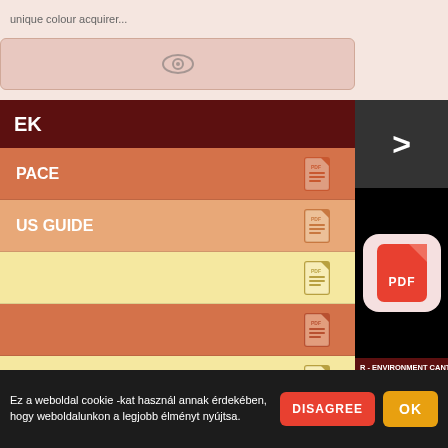...unique colour acquirer...
[Figure (screenshot): Eye/view icon in a pinkish-beige rounded box]
[Figure (screenshot): Dark arrow button pointing right (>)]
EK
PACE - PDF icon
US GUIDE - PDF icon
PDF icon (yellow row)
PDF icon (orange row)
PDF icon (yellow row)
PDF icon (orange row, partial)
[Figure (screenshot): PDF app icon - red/orange PDF logo on pinkish rounded square, black background]
R - ENVIRONMENT CANTERBU...
Soal. I am employed by the Waitaki Irrigators their Policy Manager. 2. I hold the qualifications
[Figure (screenshot): Eye/view icon in a pinkish rounded box]
Ez a weboldal cookie -kat használ annak érdekében, hogy weboldalunkon a legjobb élményt nyújtsa.
DISAGREE
OK